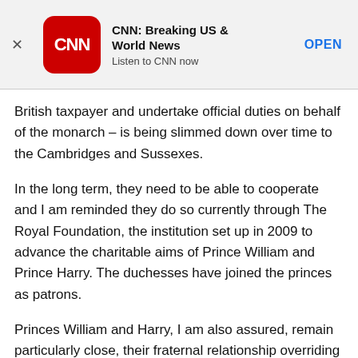[Figure (other): CNN app advertisement banner with CNN logo, title 'CNN: Breaking US & World News', subtitle 'Listen to CNN now', and OPEN button]
British taxpayer and undertake official duties on behalf of the monarch – is being slimmed down over time to the Cambridges and Sussexes.
In the long term, they need to be able to cooperate and I am reminded they do so currently through The Royal Foundation, the institution set up in 2009 to advance the charitable aims of Prince William and Prince Harry. The duchesses have joined the princes as patrons.
Princes William and Harry, I am also assured, remain particularly close, their fraternal relationship overriding any professional differences they may have.